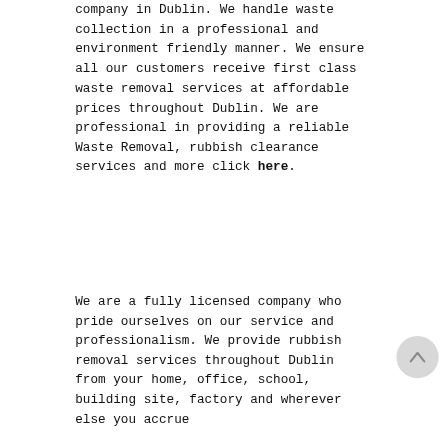company in Dublin. We handle waste collection in a professional and environment friendly manner. We ensure all our customers receive first class waste removal services at affordable prices throughout Dublin. We are professional in providing a reliable Waste Removal, rubbish clearance services and more click here.
We are a fully licensed company who pride ourselves on our service and professionalism. We provide rubbish removal services throughout Dublin from your home, office, school, building site, factory and wherever else you accrue